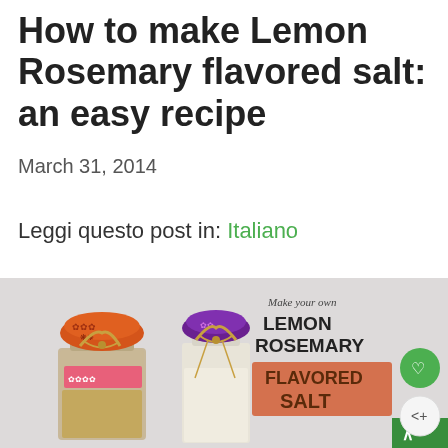How to make Lemon Rosemary flavored salt: an easy recipe
March 31, 2014
Leggi questo post in: Italiano
[Figure (photo): Two glass jars filled with salt (one wider with brownish salt, one narrower with white salt), both decorated with fabric tops tied with raffia ribbon. Text overlay reads 'Make your own LEMON ROSEMARY FLAVORED SALT'. Green heart button and share button visible on right side.]